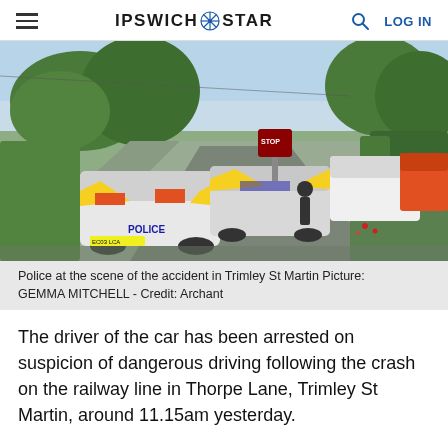≡  IPSWICH STAR  🔍  LOG IN
[Figure (photo): Police cars and emergency vehicles on a narrow road in Trimley St Martin, surrounded by trees and hedges on a sunny day.]
Police at the scene of the accident in Trimley St Martin Picture: GEMMA MITCHELL - Credit: Archant
The driver of the car has been arrested on suspicion of dangerous driving following the crash on the railway line in Thorpe Lane, Trimley St Martin, around 11.15am yesterday.